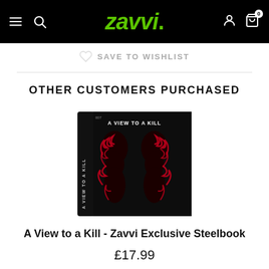Zavvi - Save to Wishlist
OTHER CUSTOMERS PURCHASED
[Figure (photo): A View to a Kill - Zavvi Exclusive Steelbook product image showing a black steelbook case with two mirrored silhouettes of female figures surrounded by red flames, with the title 'A VIEW TO A KILL' on the cover and spine]
A View to a Kill - Zavvi Exclusive Steelbook
£17.99